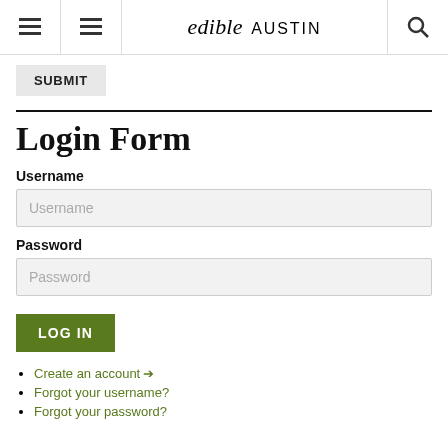edible AUSTIN
SUBMIT
Login Form
Username
Password
LOG IN
Create an account →
Forgot your username?
Forgot your password?